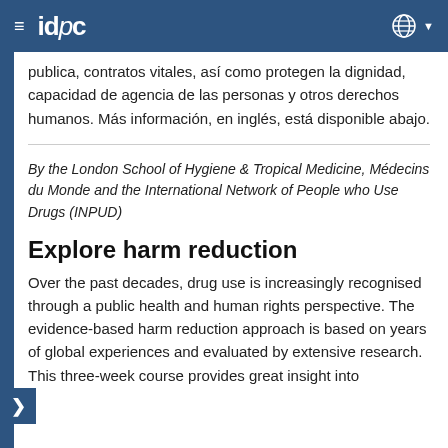≡ idpc
publica, contratos vitales, así como protegen la dignidad, capacidad de agencia de las personas y otros derechos humanos. Más información, en inglés, está disponible abajo.
By the London School of Hygiene & Tropical Medicine, Médecins du Monde and the International Network of People who Use Drugs (INPUD)
Explore harm reduction
Over the past decades, drug use is increasingly recognised through a public health and human rights perspective. The evidence-based harm reduction approach is based on years of global experiences and evaluated by extensive research. This three-week course provides great insight into